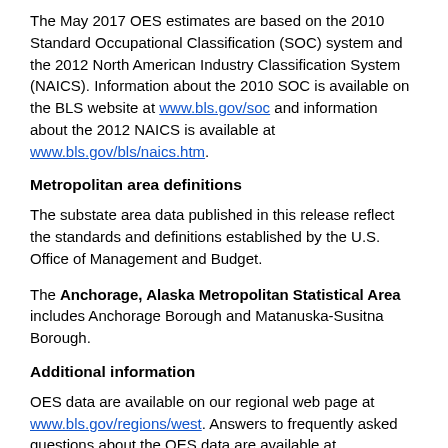The May 2017 OES estimates are based on the 2010 Standard Occupational Classification (SOC) system and the 2012 North American Industry Classification System (NAICS). Information about the 2010 SOC is available on the BLS website at www.bls.gov/soc and information about the 2012 NAICS is available at www.bls.gov/bls/naics.htm.
Metropolitan area definitions
The substate area data published in this release reflect the standards and definitions established by the U.S. Office of Management and Budget.
The Anchorage, Alaska Metropolitan Statistical Area includes Anchorage Borough and Matanuska-Susitna Borough.
Additional information
OES data are available on our regional web page at www.bls.gov/regions/west. Answers to frequently asked questions about the OES data are available at www.bls.gov/oes/oes_ques.htm. Detailed technical information about the OES survey is available in our Survey Methods and Reliability Statement on the BLS website at www.bls.gov/oes/current/methods_statement.pdf.
Information in this release will be made available to sensory impaired